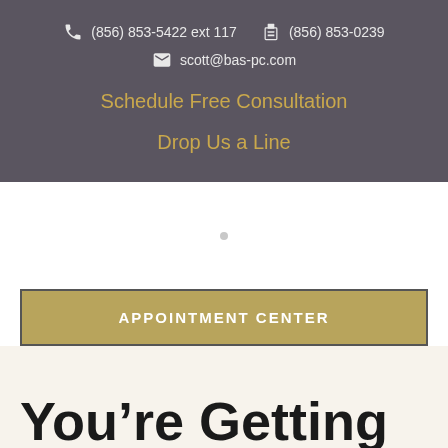(856) 853-5422 ext 117   (856) 853-0239
scott@bas-pc.com
Schedule Free Consultation
Drop Us a Line
APPOINTMENT CENTER
You're Getting